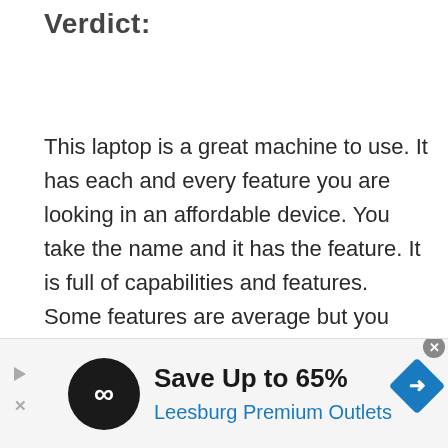Verdict:
This laptop is a great machine to use. It has each and every feature you are looking in an affordable device. You take the name and it has the feature. It is full of capabilities and features. Some features are average but you keep in mind that its price is also very less. Its color scheme is very nice and highly defined.
[Figure (infographic): Advertisement banner: Save Up to 65% - Leesburg Premium Outlets. Black circular logo with infinity/loop symbol. Blue diamond navigation icon on right. Play/close arrow icons on left.]